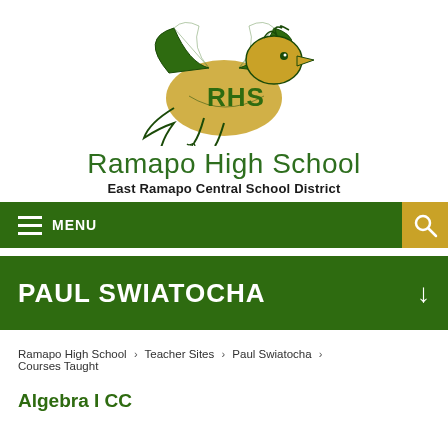[Figure (logo): Ramapo High School mascot logo — a green and gold griffin with 'RHS' lettering]
Ramapo High School
East Ramapo Central School District
MENU
PAUL SWIATOCHA
Ramapo High School › Teacher Sites › Paul Swiatocha › Courses Taught
Algebra I CC